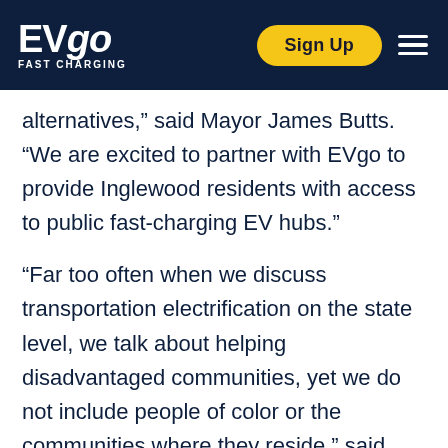EVgo FAST CHARGING | Sign Up
alternatives,” said Mayor James Butts. “We are excited to partner with EVgo to provide Inglewood residents with access to public fast-charging EV hubs.”
“Far too often when we discuss transportation electrification on the state level, we talk about helping disadvantaged communities, yet we do not include people of color or the communities where they reside,” said Senator Steven Bradford (D-Gardena). “Projects like this in Inglewood are shifting the conversation towards a